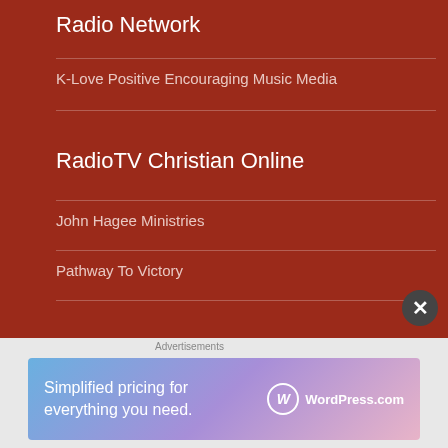Radio Network
K-Love Positive Encouraging Music Media
RadioTV Christian Online
John Hagee Ministries
Pathway To Victory
TV Online Christian
Harvest Church Greg Laurie
Joel Osteen Ministries
[Figure (screenshot): WordPress.com advertisement banner: 'Simplified pricing for everything you need.' with WordPress.com logo]
Advertisements